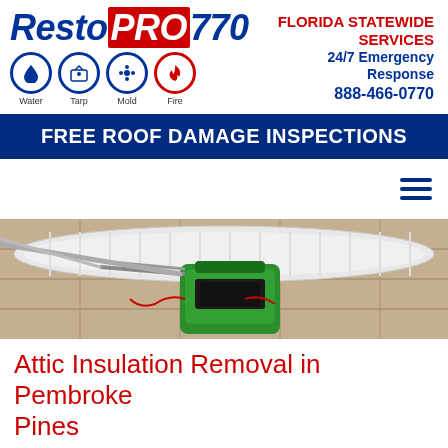[Figure (logo): RestoPRO770 logo with italic text 'Resto' in blue, 'PRO' in white on red background, '770' in blue, and four circular icons below for Water, Tarp, Mold, Fire services]
FLORIDA STATEWIDE SERVICES
24/7 Emergency Response
888-466-0770
FREE ROOF DAMAGE INSPECTIONS
[Figure (photo): Green insulation removal machine with a large white flexible hose/tube on a tiled floor surface, photographed outdoors or in a garage setting]
Attic Insulation Removal in Pembroke Pines